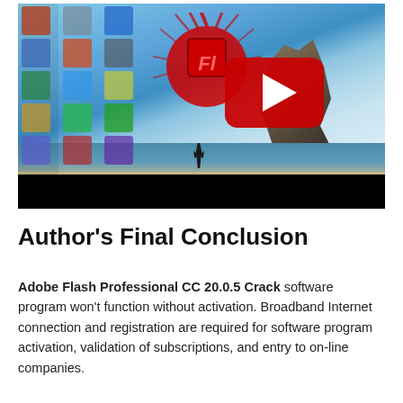[Figure (screenshot): A YouTube-style video thumbnail showing a Windows desktop with Adobe Flash Professional CC icon and a red YouTube play button overlay, with a scenic beach and rock formation background. The desktop shows various application icons on the left side and a Windows taskbar at the bottom.]
Author's Final Conclusion
Adobe Flash Professional CC 20.0.5 Crack software program won't function without activation. Broadband Internet connection and registration are required for software program activation, validation of subscriptions, and entry to on-line companies.